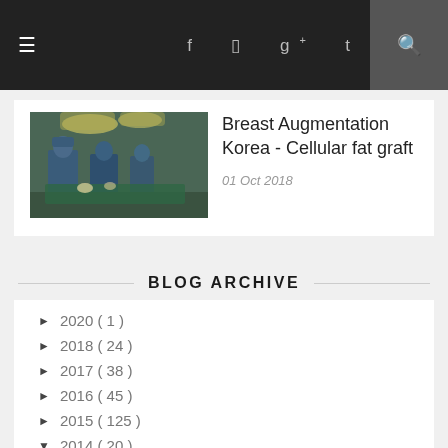≡  f  ◻  g+  t  🔍
[Figure (photo): Operating room photo showing surgeons in blue scrubs working under surgical lights]
Breast Augmentation Korea - Cellular fat graft
01 Oct 2018
BLOG ARCHIVE
► 2020 ( 1 )
► 2018 ( 24 )
► 2017 ( 38 )
► 2016 ( 45 )
► 2015 ( 125 )
▼ 2014 ( 20 )
▼ December ( 8 )